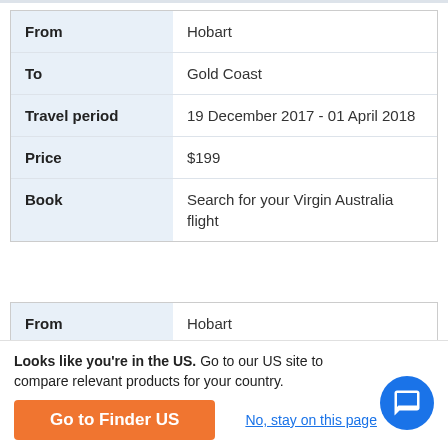|  |  |
| --- | --- |
| From | Hobart |
| To | Gold Coast |
| Travel period | 19 December 2017 - 01 April 2018 |
| Price | $199 |
| Book | Search for your Virgin Australia flight |
|  |  |
| --- | --- |
| From | Hobart |
| To | Gold Coast |
| Travel period | 18 April 2018 - 30 August 2018 |
| Price | $199 |
Looks like you're in the US. Go to our US site to compare relevant products for your country.